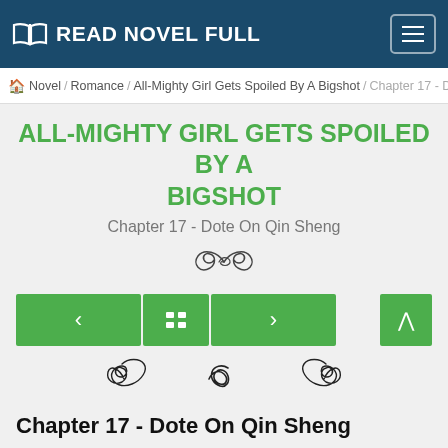READ NOVEL FULL
Novel / Romance / All-Mighty Girl Gets Spoiled By A Bigshot / Chapter 17 - Dote
ALL-MIGHTY GIRL GETS SPOILED BY A BIGSHOT
Chapter 17 - Dote On Qin Sheng
Chapter 17 - Dote On Qin Sheng
Old Master Lu noticed Fu Hanchuan's gaze and ate a mouthful of braised pork with soy sauce in satisfaction